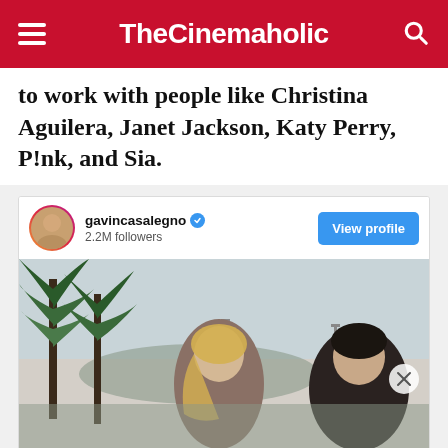TheCinemaholic
to work with people like Christina Aguilera, Janet Jackson, Katy Perry, P!nk, and Sia.
[Figure (screenshot): Instagram embed card for @gavincasalegno with 2.2M followers, showing a photo of two people outdoors with palm trees in the background, and a 'View profile' button. Below is an Ulta beauty advertisement banner.]